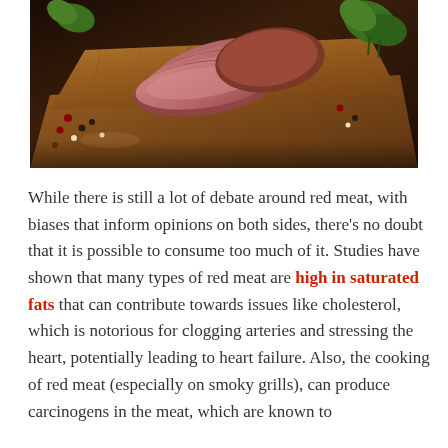[Figure (photo): Sliced red meat (beef) on a dark wooden cutting board, garnished with fresh basil leaves and peppercorns, dark moody background.]
While there is still a lot of debate around red meat, with biases that inform opinions on both sides, there's no doubt that it is possible to consume too much of it. Studies have shown that many types of red meat are high in saturated fats that can contribute towards issues like cholesterol, which is notorious for clogging arteries and stressing the heart, potentially leading to heart failure. Also, the cooking of red meat (especially on smoky grills), can produce carcinogens in the meat, which are known to